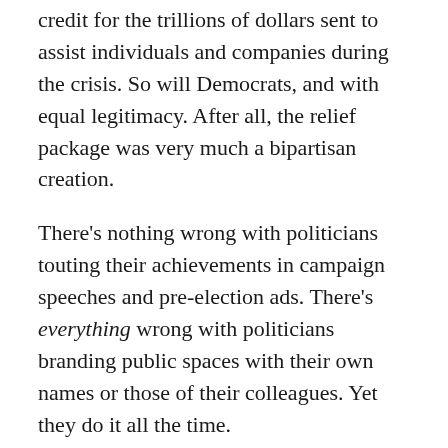credit for the trillions of dollars sent to assist individuals and companies during the crisis. So will Democrats, and with equal legitimacy. After all, the relief package was very much a bipartisan creation.
There's nothing wrong with politicians touting their achievements in campaign speeches and pre-election ads. There's everything wrong with politicians branding public spaces with their own names or those of their colleagues. Yet they do it all the time.
I remarked in a column once that you can't turn a corner in Boston "without coming across a building, a bridge, or a plaza that someone or